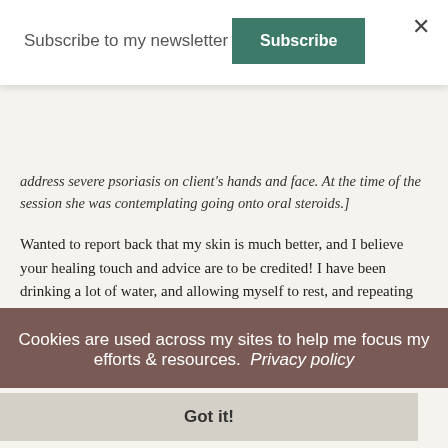Subscribe to my newsletter
Subscribe
address severe psoriasis on client's hands and face. At the time of the session she was contemplating going onto oral steroids.]
Wanted to report back that my skin is much better, and I believe your healing touch and advice are to be credited! I have been drinking a lot of water, and allowing myself to rest, and repeating positive affirmations ... I wanted to say thank you so very much. I believe your healing energy is very powerful, and you certainly have a very loving and caring approach ... I'll be in touch soon.
Cookies are used across my sites to help me focus my efforts & resources.  Privacy policy
Got it!
Best,
Lucy W